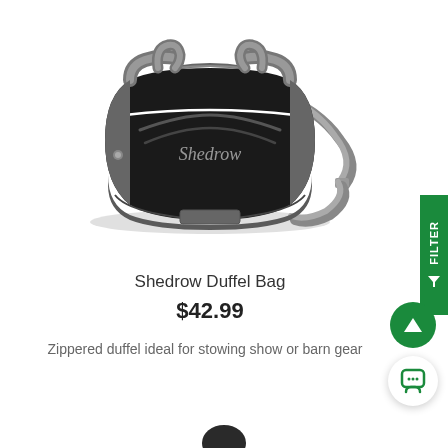[Figure (photo): Black and gray Shedrow duffel bag with shoulder strap and carry handles, shown on white background]
Shedrow Duffel Bag
$42.99
Zippered duffel ideal for stowing show or barn gear